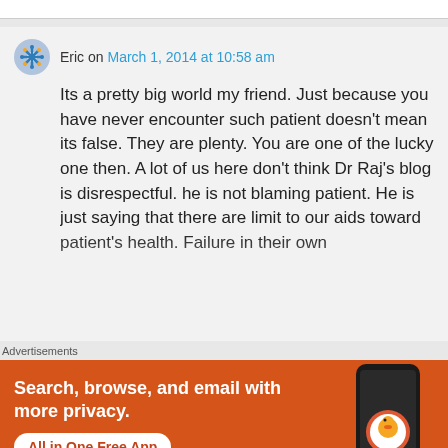Eric on March 1, 2014 at 10:58 am
Its a pretty big world my friend. Just because you have never encounter such patient doesn't mean its false. They are plenty. You are one of the lucky one then. A lot of us here don't think Dr Raj's blog is disrespectful. he is not blaming patient. He is just saying that there are limit to our aids toward patient's health. Failure in their own
Advertisements
[Figure (screenshot): DuckDuckGo advertisement: orange background with phone showing DuckDuckGo app. Text: Search, browse, and email with more privacy. All in One Free App.]